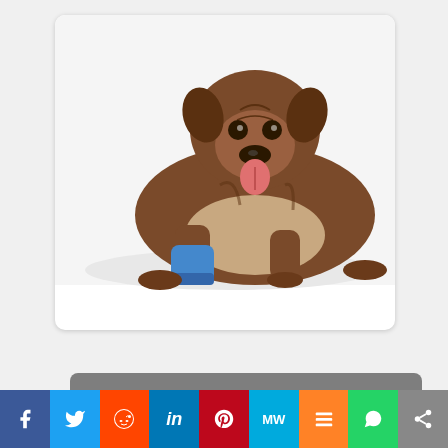[Figure (photo): Boxer dog with a blue cast on its front leg, lying down with tongue out, on white background]
Benefits of honey in dogs and how to use it
[Figure (photo): Small white dog with brown ears looking forward with sad/concerned expression, close-up portrait on light background]
What is progressive retinal atrophy
f  twitter  reddit  in  pinterest  MW  m  whatsapp  share